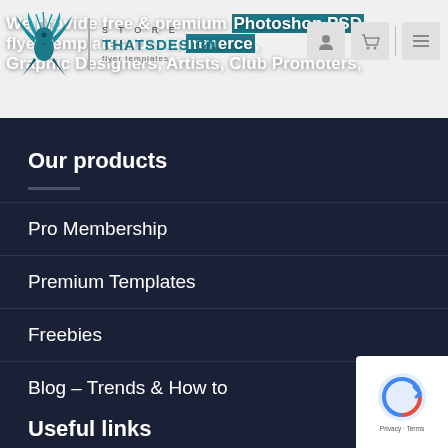[Figure (logo): ThatsDesign store logo with teal phoenix/bird graphic and text: STORE | THATSDESIGN | flyer templates]
We provide free & premium Photoshop PSD flyer templates, clubs, commerce, Graphic Designers, Artists, Club Promoters,
Our products
Pro Membership
Premium Templates
Freebies
Blog – Trends & How to
Useful links
[Figure (logo): reCAPTCHA privacy badge bottom right corner]